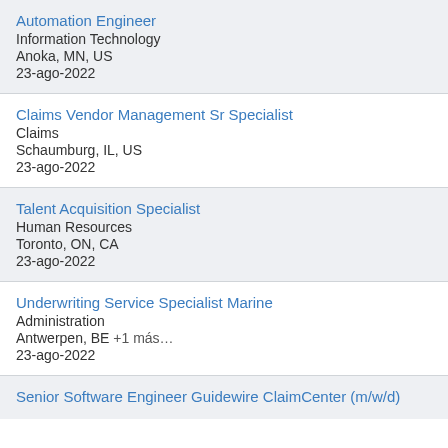Automation Engineer
Information Technology
Anoka, MN, US
23-ago-2022
Claims Vendor Management Sr Specialist
Claims
Schaumburg, IL, US
23-ago-2022
Talent Acquisition Specialist
Human Resources
Toronto, ON, CA
23-ago-2022
Underwriting Service Specialist Marine
Administration
Antwerpen, BE +1 más…
23-ago-2022
Senior Software Engineer Guidewire ClaimCenter (m/w/d)